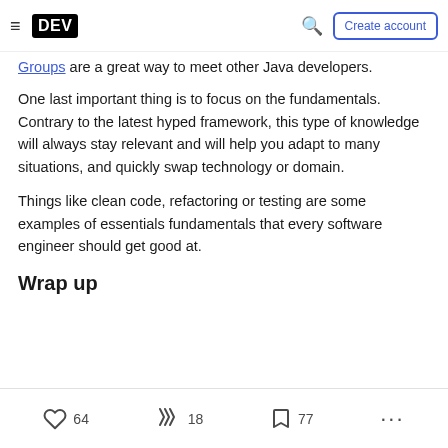DEV | Create account
Groups are a great way to meet other Java developers.
One last important thing is to focus on the fundamentals. Contrary to the latest hyped framework, this type of knowledge will always stay relevant and will help you adapt to many situations, and quickly swap technology or domain.
Things like clean code, refactoring or testing are some examples of essentials fundamentals that every software engineer should get good at.
Wrap up
64  18  77  ...